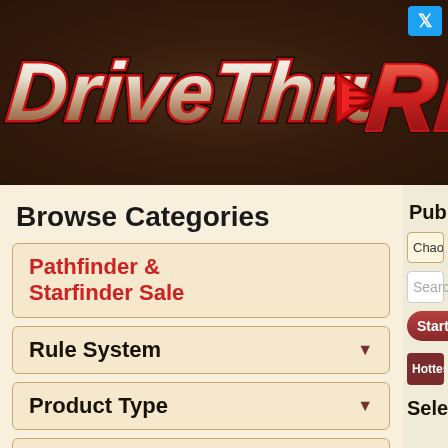[Figure (logo): DriveThruRPG logo on dark brown textured background with red and white stylized lettering]
[Figure (logo): Twitter bird icon in blue square, top right corner]
Browse Categories
Pathfinder & Starfinder Sale
Rule System
Product Type
Genre
Format
Languages
Publisher
Chaotic Shiny Producti...
Search...
Start Over
Hottest Titles from Chaoti...
Selected Products